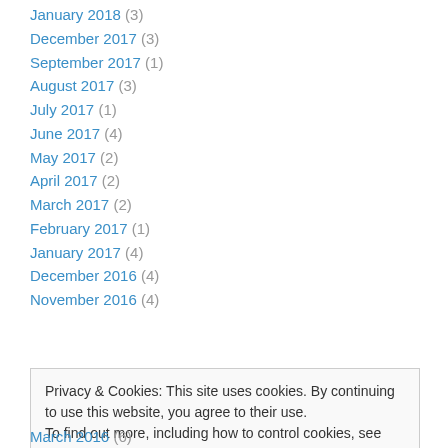January 2018 (3)
December 2017 (3)
September 2017 (1)
August 2017 (3)
July 2017 (1)
June 2017 (4)
May 2017 (2)
April 2017 (2)
March 2017 (2)
February 2017 (1)
January 2017 (4)
December 2016 (4)
November 2016 (4)
Privacy & Cookies: This site uses cookies. By continuing to use this website, you agree to their use. To find out more, including how to control cookies, see here: Cookie Policy
March 2016 (6)